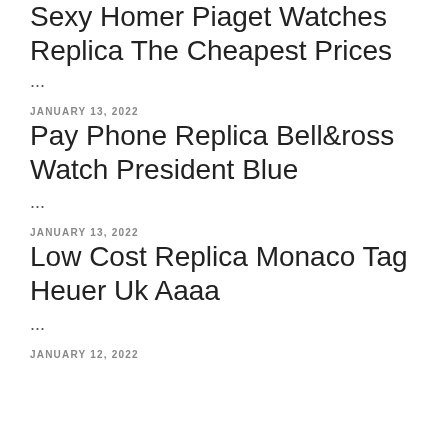Sexy Homer Piaget Watches Replica The Cheapest Prices
...
JANUARY 13, 2022
Pay Phone Replica Bell&ross Watch President Blue
...
JANUARY 13, 2022
Low Cost Replica Monaco Tag Heuer Uk Aaaa
...
JANUARY 12, 2022